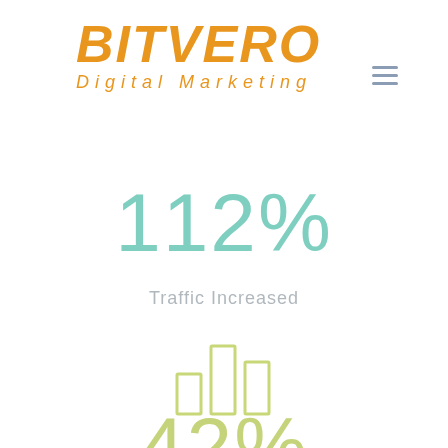[Figure (logo): Bitvero Digital Marketing logo in orange italic bold text with hamburger menu icon]
112%
Traffic Increased
[Figure (illustration): Bar chart icon outline in light olive/yellow-green color]
42%